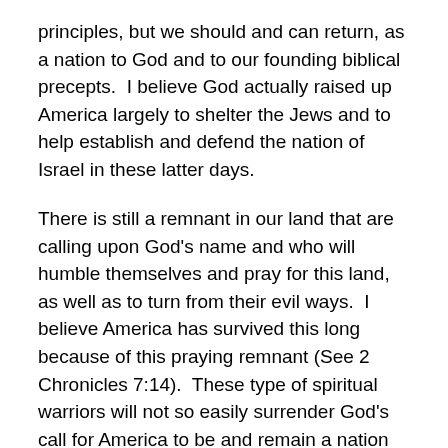principles, but we should and can return, as a nation to God and to our founding biblical precepts.  I believe God actually raised up America largely to shelter the Jews and to help establish and defend the nation of Israel in these latter days.
There is still a remnant in our land that are calling upon God's name and who will humble themselves and pray for this land, as well as to turn from their evil ways.  I believe America has survived this long because of this praying remnant (See 2 Chronicles 7:14).  These type of spiritual warriors will not so easily surrender God's call for America to be and remain a nation that He can bless and use to protect His nation of Israel, as well as to encourage gospel proclamation around the world.  America and, any nation, can be a land that will "praise the Lord," by turning away from wickedness and false religion, to the